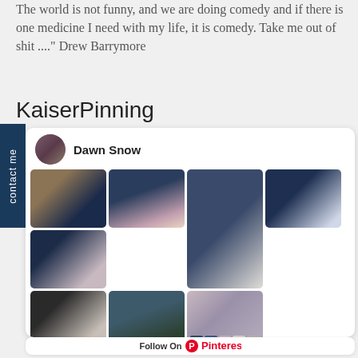The world is not funny, and we are doing comedy and if there is one medicine I need with my life, it is comedy. Take me out of shit ...." Drew Barrymore
KaiserPinning
[Figure (screenshot): Pinterest board screenshot for KaiserPinning by Dawn Snow, showing a grid of bedroom interior design photos with navy blue color schemes]
Follow On Pinterest